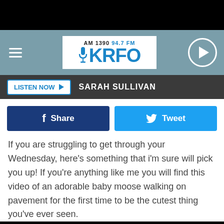[Figure (screenshot): KRFO AM 1390 94.7 FM radio station website header with hamburger menu, logo, and play button]
LISTEN NOW ▶  SARAH SULLIVAN
If you are struggling to get through your Wednesday, here's something that i'm sure will pick you up! If you're anything like me you will find this video of an adorable baby moose walking on pavement for the first time to be the cutest thing you've ever seen.